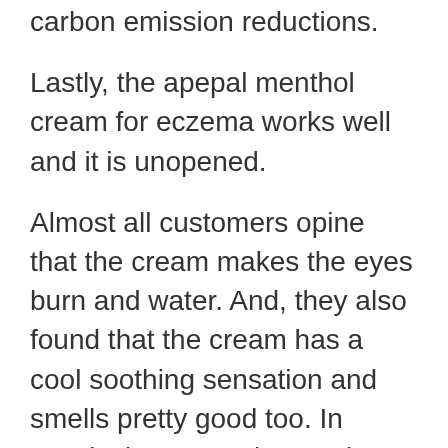carbon emission reductions.
Lastly, the apepal menthol cream for eczema works well and it is unopened.
Almost all customers opine that the cream makes the eyes burn and water. And, they also found that the cream has a cool soothing sensation and smells pretty good too. In conclusion, many buyers have used the apepal menthol cream for eczema for more than a few months without any problems, and it shows no sign of giving up.
Customers discovered that getting a tar creams for eczema, with this cream made their life much easier.